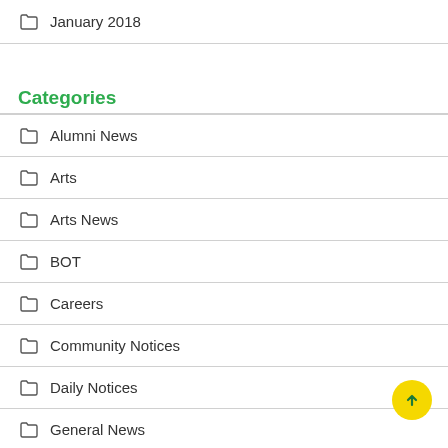January 2018
Categories
Alumni News
Arts
Arts News
BOT
Careers
Community Notices
Daily Notices
General News
Health & Safety